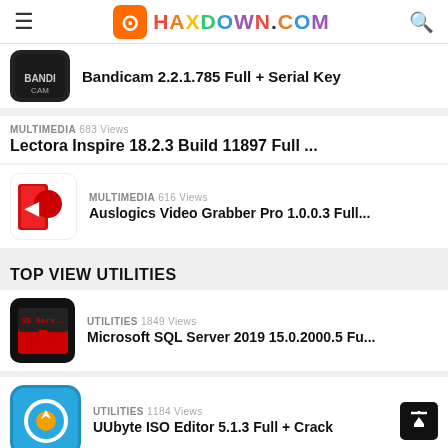HAXDOWN.COM
Bandicam 2.2.1.785 Full + Serial Key
MULTIMEDIA  683 Views
Lectora Inspire 18.2.3 Build 11897 Full ...
MULTIMEDIA  616 Views
Auslogics Video Grabber Pro 1.0.0.3 Full...
TOP VIEW UTILITIES
UTILITIES  1849 Views
Microsoft SQL Server 2019 15.0.2000.5 Fu...
UTILITIES  1184 Views
UUbyte ISO Editor 5.1.3 Full + Crack